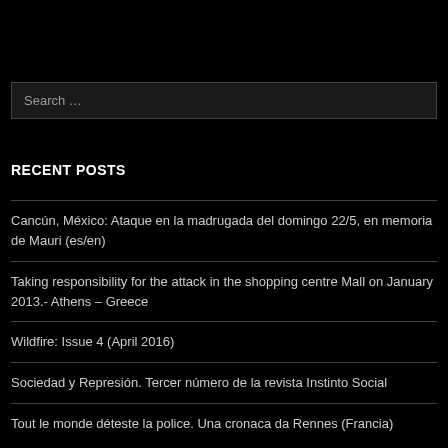[Figure (screenshot): Search box with placeholder text 'Search ...' on black background]
RECENT POSTS
Cancún, México: Ataque en la madrugada del domingo 22/5, en memoria de Mauri (es/en)
Taking responsibility for the attack in the shopping centre Mall on January 2013.- Athens – Greece
Wildfire: Issue 4 (April 2016)
Sociedad y Represión. Tercer número de la revista Instinto Social
Tout le monde déteste la police. Una cronaca da Rennes (Francia)